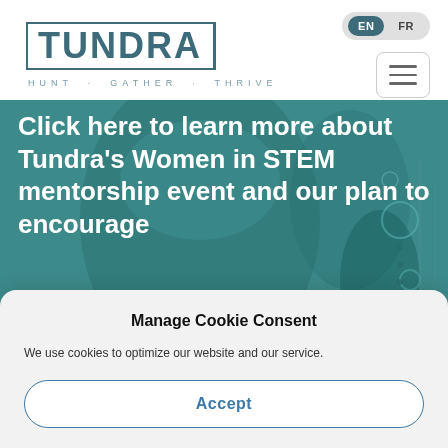[Figure (logo): Tundra logo with bracketed text and tagline HUNT · GATHER · THRIVE]
[Figure (screenshot): Language toggle showing EN selected and FR, plus hamburger menu icon]
[Figure (photo): Teal-tinted hero image of a woman's face with overlay text about Tundra's Women in STEM mentorship event]
Click here to learn more about Tundra's Women in STEM mentorship event and our plan to encourage
Manage Cookie Consent
We use cookies to optimize our website and our service.
Accept